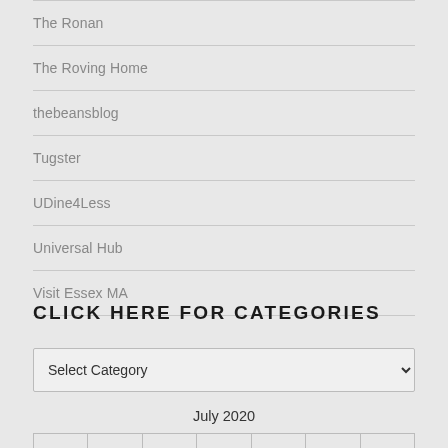The Ronan
The Roving Home
thebeansblog
Tugster
UDine4Less
Universal Hub
Visit Essex MA
CLICK HERE FOR CATEGORIES
Select Category
July 2020